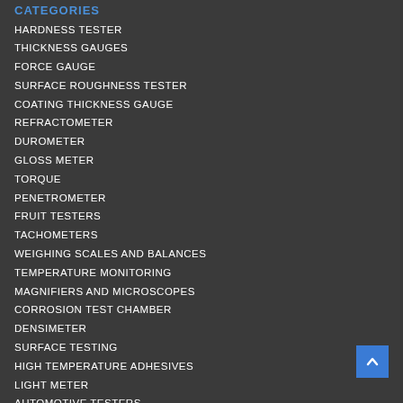CATEGORIES
HARDNESS TESTER
THICKNESS GAUGES
FORCE GAUGE
SURFACE ROUGHNESS TESTER
COATING THICKNESS GAUGE
REFRACTOMETER
DUROMETER
GLOSS METER
TORQUE
PENETROMETER
FRUIT TESTERS
TACHOMETERS
WEIGHING SCALES AND BALANCES
TEMPERATURE MONITORING
MAGNIFIERS AND MICROSCOPES
CORROSION TEST CHAMBER
DENSIMETER
SURFACE TESTING
HIGH TEMPERATURE ADHESIVES
LIGHT METER
AUTOMOTIVE TESTERS